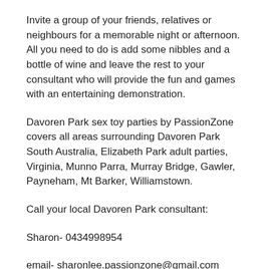Invite a group of your friends, relatives or neighbours for a memorable night or afternoon. All you need to do is add some nibbles and a bottle of wine and leave the rest to your consultant who will provide the fun and games with an entertaining demonstration.
Davoren Park sex toy parties by PassionZone covers all areas surrounding Davoren Park South Australia, Elizabeth Park adult parties, Virginia, Munno Parra, Murray Bridge, Gawler, Payneham, Mt Barker, Williamstown.
Call your local Davoren Park consultant:
Sharon- 0434998954
email- sharonlee.passionzone@gmail.com